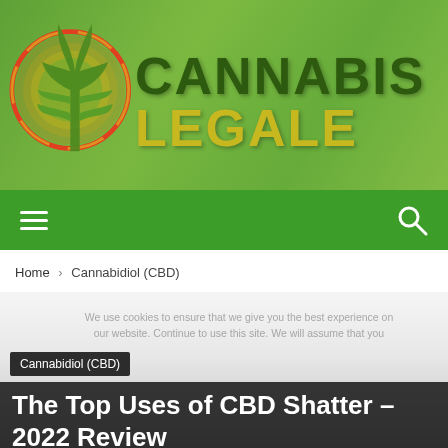[Figure (logo): Cannabis Legale website header with cannabis leaf logo on colorful circular background and site name 'CANNABIS LEGALE' in dark green and gold letters on green leafy background]
☰  🔍
Home › Cannabidiol (CBD)
[Figure (photo): Large faded/blurred gray article hero image area with consent notice text faintly visible]
Cannabidiol (CBD)
The Top Uses of CBD Shatter – 2022 Review